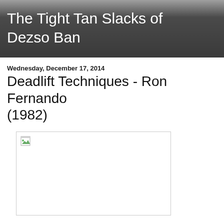The Tight Tan Slacks of Dezso Ban
Wednesday, December 17, 2014
Deadlift Techniques - Ron Fernando (1982)
[Figure (photo): Broken/missing image placeholder with small icon in top-left corner, large white rectangular area]